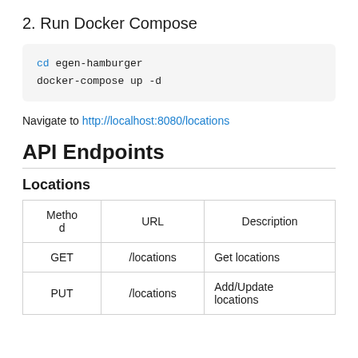2. Run Docker Compose
cd egen-hamburger
docker-compose up -d
Navigate to http://localhost:8080/locations
API Endpoints
Locations
| Method | URL | Description |
| --- | --- | --- |
| GET | /locations | Get locations |
| PUT | /locations | Add/Update locations |